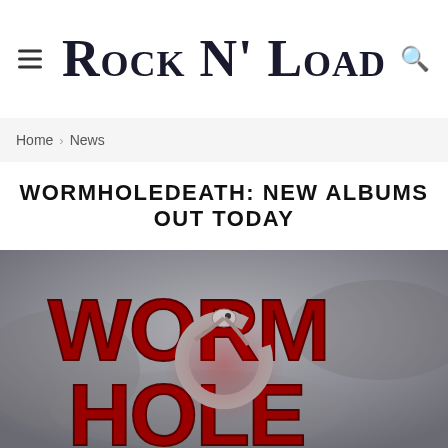Rock N' Load
Home › News
WORMHOLEDEATH: NEW ALBUMS OUT TODAY
[Figure (photo): WormholeDeath record label logo — large red letters spelling WORM HOLE with a silver ouroboros snake wrapping around, on a smoky grey background]